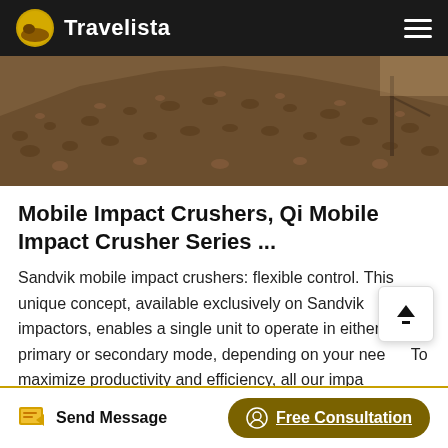Travelista
[Figure (photo): Pile of crushed stone/gravel aggregate with construction equipment visible in background]
Mobile Impact Crushers, Qi Mobile Impact Crusher Series ...
Sandvik mobile impact crushers: flexible control. This unique concept, available exclusively on Sandvik impactors, enables a single unit to operate in either primary or secondary mode, depending on your needs. To maximize productivity and efficiency, all our impact crushers have features that optimize throughput and minimize spillage.
Send Message   Free Consultation